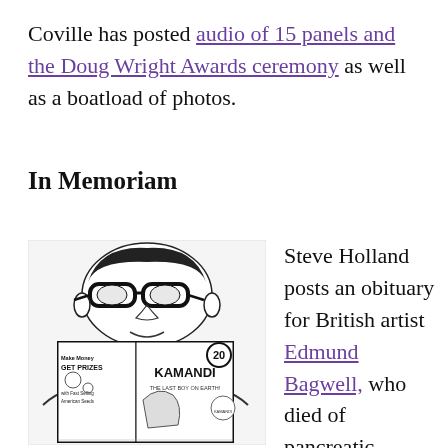Coville has posted audio of 15 panels and the Doug Wright Awards ceremony as well as a boatload of photos.
In Memoriam
[Figure (illustration): Black and white illustration of a person wearing thick-rimmed glasses reading a comic book. The comic book cover shows 'KAMANDI THE LAST BOY ON EARTH!' issue 20, with 'GET PRIZES' and 'Make Money with Fast Selling American Seeds' text visible on the back cover.]
Steve Holland posts an obituary for British artist Edmund Bagwell, who died of pancreatic